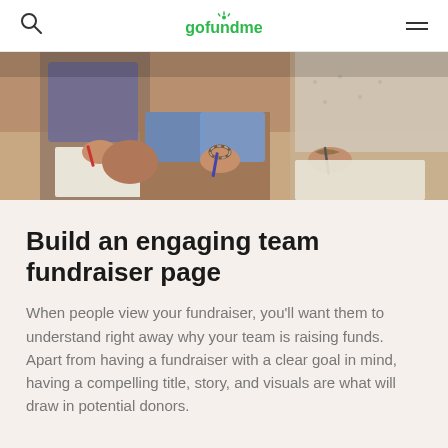gofundme
[Figure (photo): People sitting together writing on paper or notebooks, multiple hands visible with pens, bracelets on wrists]
Build an engaging team fundraiser page
When people view your fundraiser, you'll want them to understand right away why your team is raising funds. Apart from having a fundraiser with a clear goal in mind, having a compelling title, story, and visuals are what will draw in potential donors.